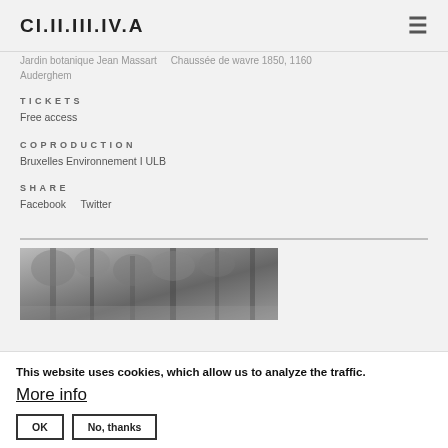CI.II.III.IV.A
Jardin botanique Jean Massart    Chaussée de wavre 1850, 1160 Auderghem
TICKETS
Free access
COPRODUCTION
Bruxelles Environnement I ULB
SHARE
Facebook    Twitter
[Figure (photo): Black and white photograph of trees in a botanical garden setting]
This website uses cookies, which allow us to analyze the traffic.
More info
OK    No, thanks